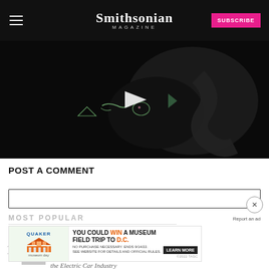Smithsonian MAGAZINE | SUBSCRIBE
[Figure (screenshot): Dark video thumbnail showing bioluminescent organism shapes with a white play button triangle in the center]
POST A COMMENT
MOST POPULAR
[Figure (screenshot): Quaker Oats advertisement: YOU COULD WIN A MUSEUM FIELD TRIP TO D.C. LEARN MORE]
the Electric Car Industry